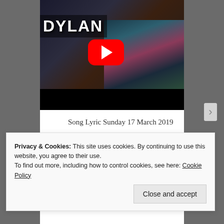[Figure (screenshot): YouTube video thumbnail showing a person wearing a colorful jacket with 'DYLAN' text visible, YouTube play button overlay in center, black bar at bottom]
Song Lyric Sunday 17 March 2019
Privacy & Cookies: This site uses cookies. By continuing to use this website, you agree to their use.
To find out more, including how to control cookies, see here: Cookie Policy
Close and accept